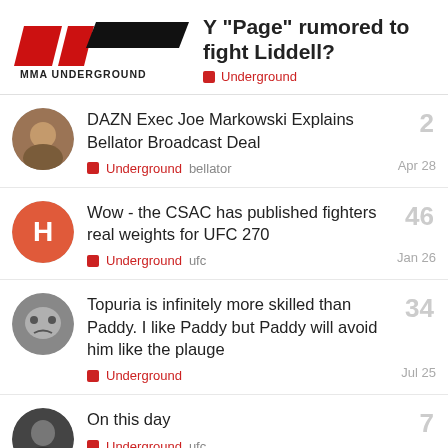Y "Page" rumored to fight Liddell? — Underground
DAZN Exec Joe Markowski Explains Bellator Broadcast Deal — Underground bellator — Apr 28 — 2 replies
Wow - the CSAC has published fighters real weights for UFC 270 — Underground ufc — Jan 26 — 46 replies
Topuria is infinitely more skilled than Paddy. I like Paddy but Paddy will avoid him like the plauge — Underground — Jul 25 — 34 replies
On this day — Underground ufc — Apr 25 — 7 replies
Canelo vs Khan looked fixed...